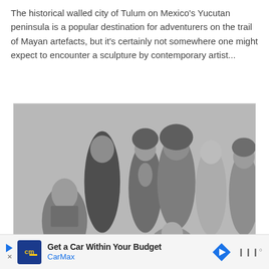The historical walled city of Tulum on Mexico's Yucutan peninsula is a popular destination for adventurers on the trail of Mayan artefacts, but it's certainly not somewhere one might expect to encounter a sculpture by contemporary artist...
[Figure (photo): Black and white group photograph of seven people in 1960s/70s style clothing. Five people stand in the back row and two are in the front. The group includes men and women wearing bohemian, hippie-era fashion including beaded necklaces, turtlenecks, and flowing garments.]
Get a Car Within Your Budget CarMax